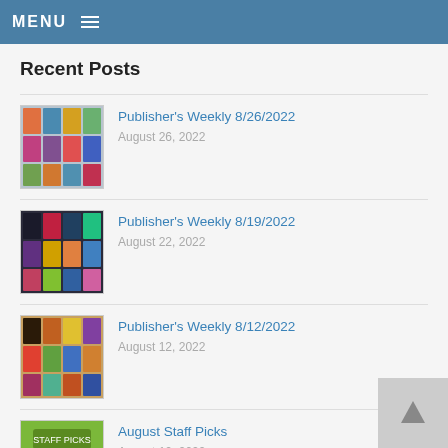MENU
Recent Posts
Publisher's Weekly 8/26/2022
August 26, 2022
Publisher's Weekly 8/19/2022
August 22, 2022
Publisher's Weekly 8/12/2022
August 12, 2022
August Staff Picks
August 10, 2022
Publisher's Weekly 8/05/2022